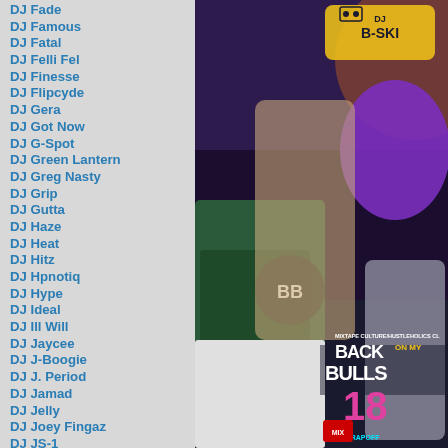DJ Fade
DJ Famous
DJ Fatal
DJ Felli Fel
DJ Finesse
DJ Flipcyde
DJ Gera
DJ Got Now
DJ G-Spot
DJ Green Lantern
DJ Greg Nasty
DJ Grip
DJ Gutta
DJ Haze
DJ Heat
DJ Hitz
DJ Hpnotiq
DJ Hype
DJ Ideal
DJ Ill Will
DJ Jaycee
DJ J-Boogie
DJ J. Period
DJ Jamad
DJ Jelly
DJ Joey Fingaz
DJ JS-1
DJ Kay Slay
DJ Kep
DJ Keyz
DJ Khaled
DJ Killa K
DJ King Assassin
[Figure (photo): Mixtape cover art for 'Back On My Bulls' Vol. 18 by DJ B-Ski. Shows three rap artists posing in front of a car with city background. Text reads 'MIXTAPE CULTURE/HUSTLEHOLICS CL', 'BACK ON MY BULLS', '18', '#LLDJTRAPOFF'. The MIX logo appears at the bottom left.]